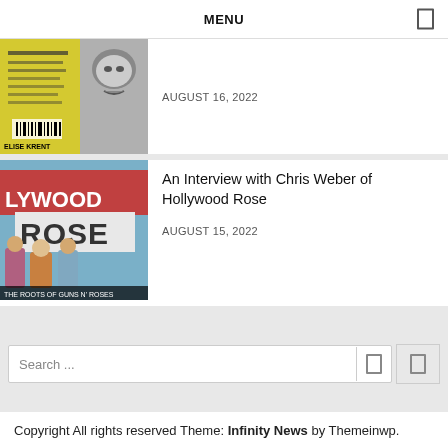MENU
[Figure (photo): Thumbnail image: yellow book cover on left (possibly Elise Krent) and black-and-white face photo on right, partially cropped]
AUGUST 16, 2022
[Figure (photo): Thumbnail image: Hollywood Rose band photo with text 'LYWOOD ROSE' and 'THE ROOTS OF GUNS N' ROSES' at the bottom]
An Interview with Chris Weber of Hollywood Rose
AUGUST 15, 2022
Search ...
Copyright All rights reserved Theme: Infinity News by Themeinwp.